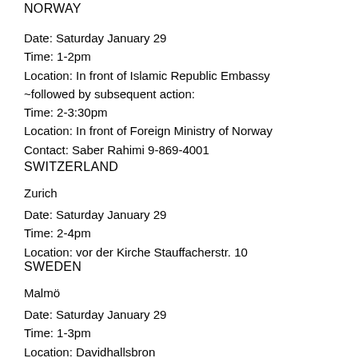NORWAY
Date: Saturday January 29
Time: 1-2pm
Location: In front of Islamic Republic Embassy
~followed by subsequent action:
Time: 2-3:30pm
Location: In front of Foreign Ministry of Norway
Contact: Saber Rahimi 9-869-4001
SWITZERLAND
Zurich
Date: Saturday January 29
Time: 2-4pm
Location: vor der Kirche Stauffacherstr. 10
SWEDEN
Malmö
Date: Saturday January 29
Time: 1-3pm
Location: Davidhallsbron
Contact: 0703 63 80 88 , 0703171102